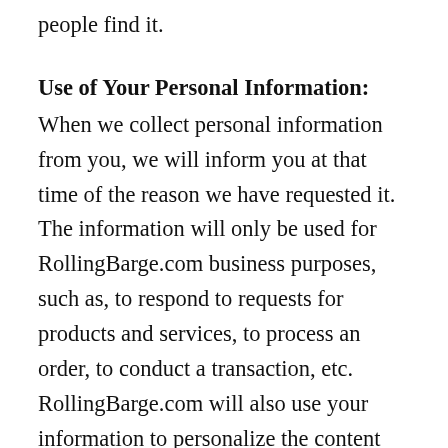people find it.
Use of Your Personal Information:
When we collect personal information from you, we will inform you at that time of the reason we have requested it. The information will only be used for RollingBarge.com business purposes, such as, to respond to requests for products and services, to process an order, to conduct a transaction, etc. RollingBarge.com will also use your information to personalize the content you view and to better understand how you use the website in order to